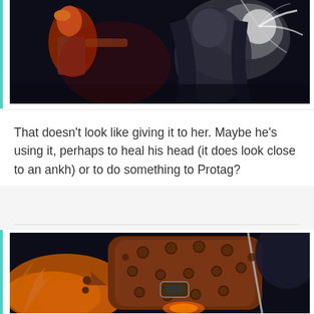[Figure (illustration): Comic/graphic novel illustration showing a character with orange hair fighting or confronting another figure, dark moody background with light burst effect]
That doesn't look like giving it to her. Maybe he's using it, perhaps to heal his head (it does look close to an ankh) or to do something to Protag?
[Figure (illustration): Comic/graphic novel close-up illustration showing armored gauntlet/glove with rivets and a glowing orb, surrounded by orange flame-like hair, dark background]